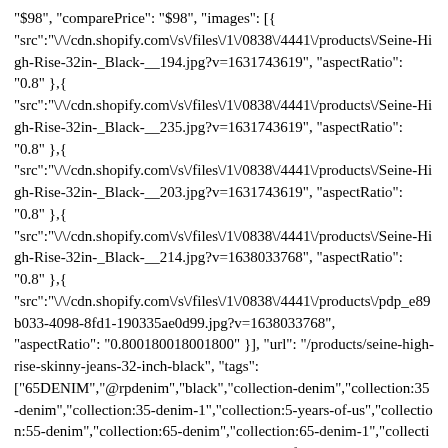"$98", "comparePrice": "$98", "images": [{"src":"\/\/cdn.shopify.com\/s\/files\/1\/0838\/4441\/products\/Seine-High-Rise-32in-_Black-__194.jpg?v=1631743619", "aspectRatio": "0.8" },{ "src":"\/\/cdn.shopify.com\/s\/files\/1\/0838\/4441\/products\/Seine-High-Rise-32in-_Black-__235.jpg?v=1631743619", "aspectRatio": "0.8" },{ "src":"\/\/cdn.shopify.com\/s\/files\/1\/0838\/4441\/products\/Seine-High-Rise-32in-_Black-__203.jpg?v=1631743619", "aspectRatio": "0.8" },{ "src":"\/\/cdn.shopify.com\/s\/files\/1\/0838\/4441\/products\/Seine-High-Rise-32in-_Black-__214.jpg?v=1638033768", "aspectRatio": "0.8" },{ "src":"\/\/cdn.shopify.com\/s\/files\/1\/0838\/4441\/products\/pdp_e89b033-4098-8fd1-190335ae0d99.jpg?v=1638033768", "aspectRatio": "0.800180018001800" }], "url": "/products/seine-high-rise-skinny-jeans-32-inch-black", "tags": ["65DENIM","@rpdenim","black","collection-denim","collection:35-denim","collection:35-denim-1","collection:5-years-of-us","collection:55-denim","collection:65-denim","collection:65-denim-1","collection:70-denim","collection:all","collection:all-of-us-as-we-are-anywhere","collection:back-to-basics","collection:best-friend-denim","collection:best-sellers","collection:best-sellers-kit","collection:best-sellers-seine-jeans","collection:bestsellers-